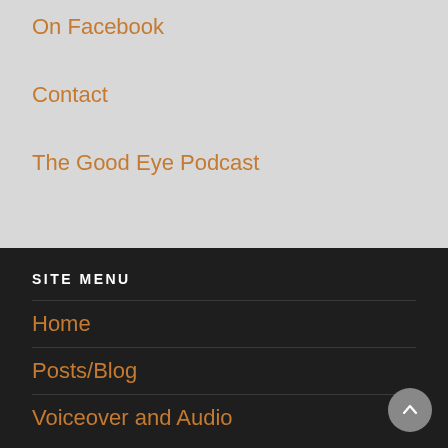On Facebook
Contact
The Good Eye Podcast
SITE MENU
Home
Posts/Blog
Voiceover and Audio